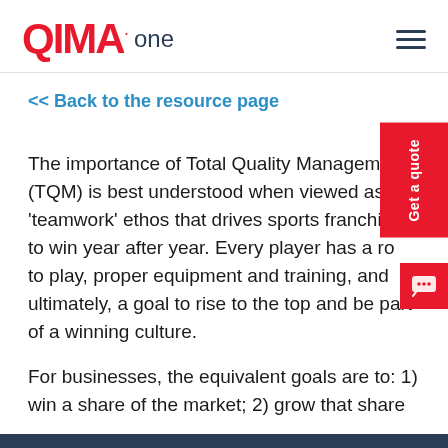QIMA one
<< Back to the resource page
The importance of Total Quality Management (TQM) is best understood when viewed as the 'teamwork' ethos that drives sports franchises to win year after year. Every player has a role to play, proper equipment and training, and ultimately, a goal to rise to the top and be part of a winning culture.
For businesses, the equivalent goals are to: 1) win a share of the market; 2) grow that share